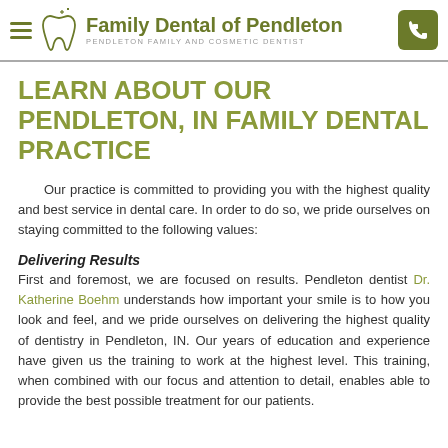Family Dental of Pendleton — PENDLETON FAMILY AND COSMETIC DENTIST
LEARN ABOUT OUR PENDLETON, IN FAMILY DENTAL PRACTICE
Our practice is committed to providing you with the highest quality and best service in dental care. In order to do so, we pride ourselves on staying committed to the following values:
Delivering Results
First and foremost, we are focused on results. Pendleton dentist Dr. Katherine Boehm understands how important your smile is to how you look and feel, and we pride ourselves on delivering the highest quality of dentistry in Pendleton, IN. Our years of education and experience have given us the training to work at the highest level. This training, when combined with our focus and attention to detail, enables able to provide the best possible treatment for our patients.